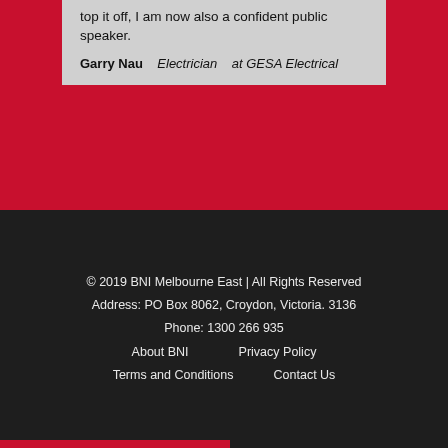top it off, I am now also a confident public speaker.
Garry Nau   Electrician   at GESA Electrical
© 2019 BNI Melbourne East | All Rights Reserved
Address: PO Box 8062, Croydon, Victoria. 3136
Phone: 1300 266 935
About BNI     Privacy Policy
Terms and Conditions     Contact Us